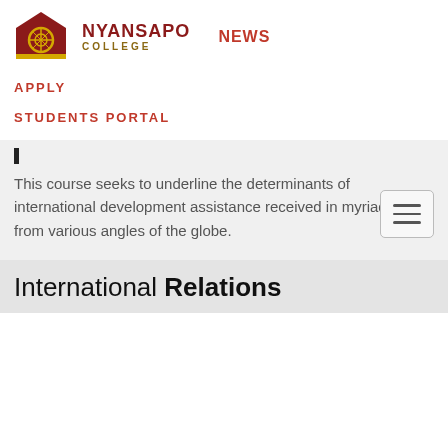NYANSAPO COLLEGE  NEWS
APPLY
STUDENTS PORTAL
This course seeks to underline the determinants of international development assistance received in myriad forms from various angles of the globe.
International Relations